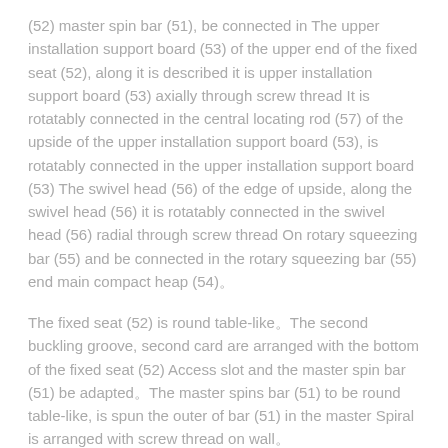(52) master spin bar (51), be connected in The upper installation support board (53) of the upper end of the fixed seat (52), along it is described it is upper installation support board (53) axially through screw thread It is rotatably connected in the central locating rod (57) of the upside of the upper installation support board (53), is rotatably connected in the upper installation support board (53) The swivel head (56) of the edge of upside, along the swivel head (56) it is rotatably connected in the swivel head (56) radial through screw thread On rotary squeezing bar (55) and be connected in the rotary squeezing bar (55) end main compact heap (54)。
The fixed seat (52) is round table-like。The second buckling groove, second card are arranged with the bottom of the fixed seat (52) Access slot and the master spin bar (51) be adapted。The master spins bar (51) to be round table-like, is spun the outer of bar (51) in the master Spiral is arranged with screw thread on wall。
The upper installation support board (53) is discoid。The 3rd clamping is arranged with the downside of the upper installation support board (53) Groove, the 3rd buckling